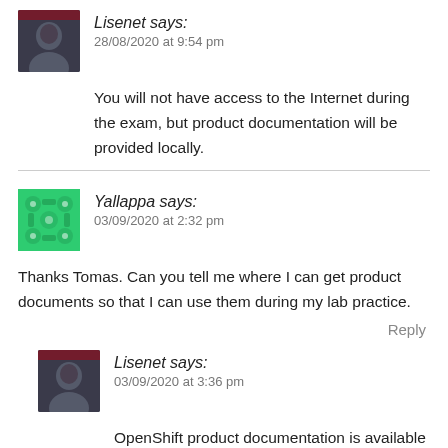[Figure (photo): Dark portrait avatar of Lisenet user]
Lisenet says:
28/08/2020 at 9:54 pm
You will not have access to the Internet during the exam, but product documentation will be provided locally.
[Figure (illustration): Green patterned avatar of Yallappa user]
Yallappa says:
03/09/2020 at 2:32 pm
Thanks Tomas. Can you tell me where I can get product documents so that I can use them during my lab practice.
Reply
[Figure (photo): Dark portrait avatar of Lisenet user]
Lisenet says:
03/09/2020 at 3:36 pm
OpenShift product documentation is available below (pick the version that you are studying for):